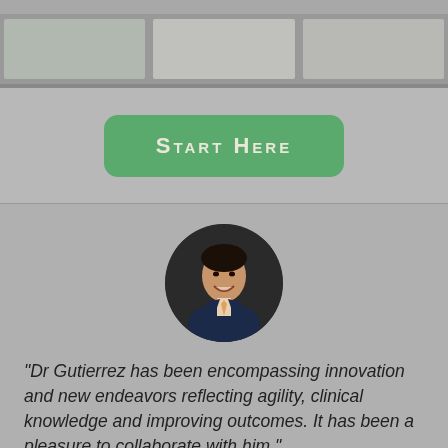[Figure (photo): Top banner with medical/dental office images]
Start Here
[Figure (photo): Circular headshot portrait of Dr. Gutierrez in a suit]
"Dr Gutierrez has been encompassing innovation and new endeavors reflecting agility, clinical knowledge and improving outcomes. It has been a pleasure to collaborate with him."